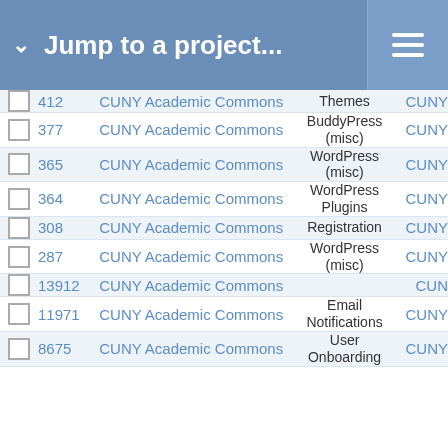Jump to a project...
|  | # | Project | Category | Tag |
| --- | --- | --- | --- | --- |
| ☐ | 412 | CUNY Academic Commons | Themes | CUNY |
| ☐ | 377 | CUNY Academic Commons | BuddyPress (misc) | CUNY |
| ☐ | 365 | CUNY Academic Commons | WordPress (misc) | CUNY |
| ☐ | 364 | CUNY Academic Commons | WordPress Plugins | CUNY |
| ☐ | 308 | CUNY Academic Commons | Registration | CUNY |
| ☐ | 287 | CUNY Academic Commons | WordPress (misc) | CUNY |
| ☐ | 13912 | CUNY Academic Commons |  | CUN |
| ☐ | 11971 | CUNY Academic Commons | Email Notifications | CUNY |
| ☐ | 8675 | CUNY Academic Commons | User Onboarding | CUNY |